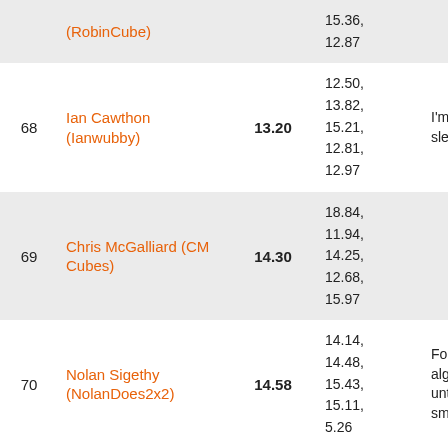| # | Name | Avg | Solves | Comment |
| --- | --- | --- | --- | --- |
|  | (RobinCube) |  | 15.36, 12.87 |  |
| 68 | Ian Cawthon (Ianwubby) | 13.20 | 12.50, 13.82, 15.21, 12.81, 12.97 | I'm bad at sledges |
| 69 | Chris McGalliard (CM Cubes) | 14.30 | 18.84, 11.94, 14.25, 12.68, 15.97 |  |
| 70 | Nolan Sigethy (NolanDoes2x2) | 14.58 | 14.14, 14.48, 15.43, 15.11, 5.26 | Forgot every alg I knew until solve 5. smh |
| 71 | James Golding (PotatoesAreUs) | 14.73 | 11.44, 28.70, 14.31, 18.45, |  |